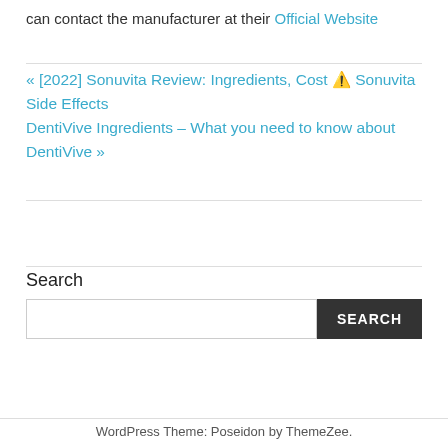can contact the manufacturer at their Official Website
« [2022] Sonuvita Review: Ingredients, Cost ⚠️ Sonuvita Side Effects
DentiVive Ingredients – What you need to know about DentiVive »
Search
WordPress Theme: Poseidon by ThemeZee.